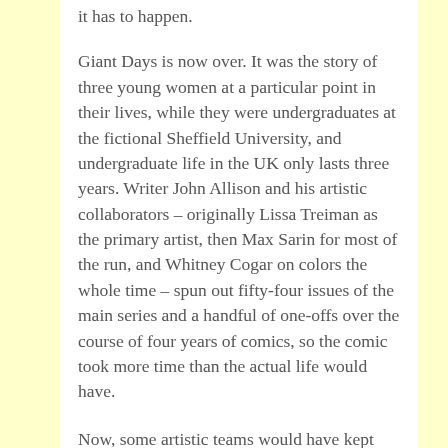it has to happen.
Giant Days is now over. It was the story of three young women at a particular point in their lives, while they were undergraduates at the fictional Sheffield University, and undergraduate life in the UK only lasts three years. Writer John Allison and his artistic collaborators – originally Lissa Treiman as the primary artist, then Max Sarin for most of the run, and Whitney Cogar on colors the whole time – spun out fifty-four issues of the main series and a handful of one-offs over the course of four years of comics, so the comic took more time than the actual life would have.
Now, some artistic teams would have kept Esther, Susan, and Daisy in college for decades or longer – if it was an American comic book or syndicated newspaper strip,